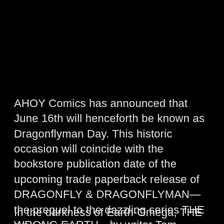AHOY Comics has announced that June 16th will henceforth be known as Dragonflyman Day. This historic occasion will coincide with the bookstore publication date of the upcoming trade paperback release of DRAGONFLY & DRAGONFLYMAN—the prequel to the dazzling series THE WRONG EARTH—by writer Tom Peyer, artist Peter Krause, colorist Andy Troy, and letterer Rob Steen.
In the darkness of Earth-Omega, THE DRAGONFLY